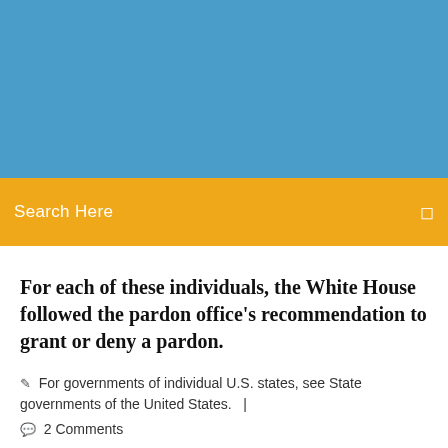[Figure (other): Blue banner/header image background]
Search Here
For each of these individuals, the White House followed the pardon office's recommendation to grant or deny a pardon.
For governments of individual U.S. states, see State governments of the United States. |
2 Comments